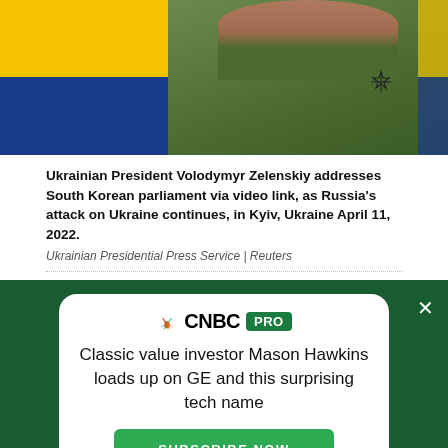[Figure (photo): Ukrainian President Volodymyr Zelenskiy in a green military t-shirt, standing in front of the Ukrainian flag (yellow and blue). There is an emblem on his shirt.]
Ukrainian President Volodymyr Zelenskiy addresses South Korean parliament via video link, as Russia's attack on Ukraine continues, in Kyiv, Ukraine April 11, 2022.
Ukrainian Presidential Press Service | Reuters
[Figure (infographic): CNBC PRO advertisement card on dark green background with close button. Headline: Classic value investor Mason Hawkins loads up on GE and this surprising tech name. Subscribe Now button in green.]
CNBC logo with social media icons: Facebook, Twitter, LinkedIn, Email